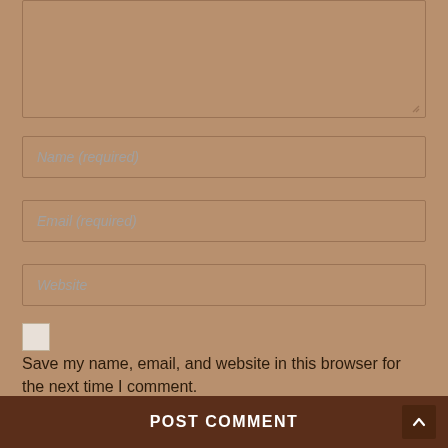[Figure (screenshot): Comment form textarea box (empty, resizable)]
Name (required)
Email (required)
Website
Save my name, email, and website in this browser for the next time I comment.
POST COMMENT